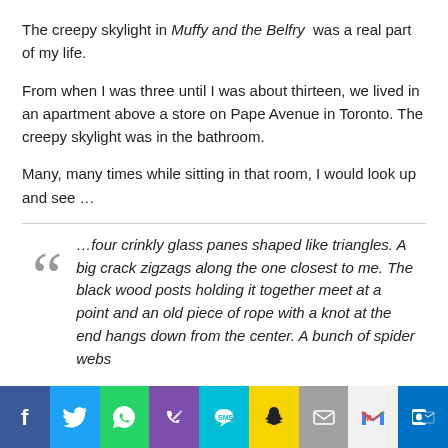The creepy skylight in Muffy and the Belfry was a real part of my life.
From when I was three until I was about thirteen, we lived in an apartment above a store on Pape Avenue in Toronto. The creepy skylight was in the bathroom.
Many, many times while sitting in that room, I would look up and see …
…four crinkly glass panes shaped like triangles. A big crack zigzags along the one closest to me. The black wood posts holding it together meet at a point and an old piece of rope with a knot at the end hangs down from the center. A bunch of spider webs
Social sharing bar: Facebook, Twitter, WhatsApp, Phone, SMS, Snapchat, Email, Gmail, Outlook